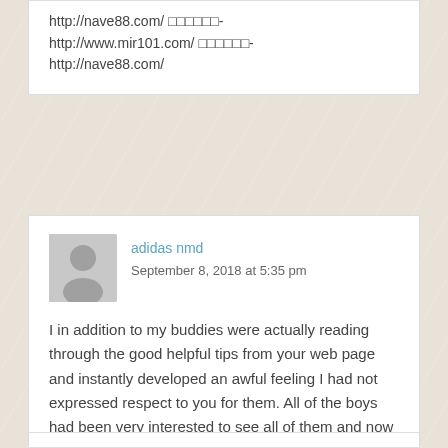http://nave88.com/ ♯♯♯♯♯♯- http://www.mir101.com/ ♯♯♯♯♯♯- http://nave88.com/
[Figure (illustration): Grey avatar/silhouette placeholder image for user profile]
adidas nmd
September 8, 2018 at 5:35 pm
I in addition to my buddies were actually reading through the good helpful tips from your web page and instantly developed an awful feeling I had not expressed respect to you for them. All of the boys had been very interested to see all of them and now have undoubtedly been loving these things. I appreciate you for actually being really accommodating and also for figuring out variety of quality themes millions of individuals are really desirous to know about. My very own sincere apologies for not saying thanks to sooner.